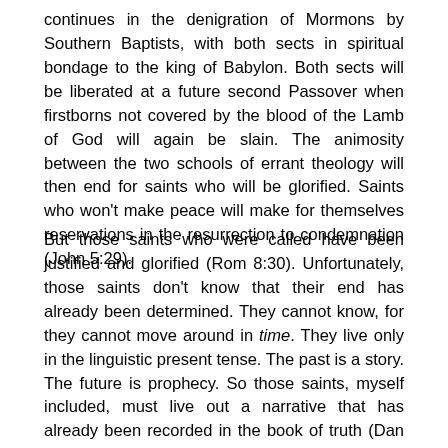continues in the denigration of Mormons by Southern Baptists, with both sects in spiritual bondage to the king of Babylon. Both sects will be liberated at a future second Passover when firstborns not covered by the blood of the Lamb of God will again be slain. The animosity between the two schools of errant theology will then end for saints who will be glorified. Saints who won't make peace will make for themselves reservations in the resurrection to condemnation (John 5:29).
But those saints who were called have been justified and glorified (Rom 8:30). Unfortunately, those saints don't know that their end has already been determined. They cannot know, for they cannot move around in time. They live only in the linguistic present tense. The past is a story. The future is prophecy. So those saints, myself included, must live out a narrative that has already been recorded in the book of truth (Dan 10:21). And will realizing that our end has already been determined effect